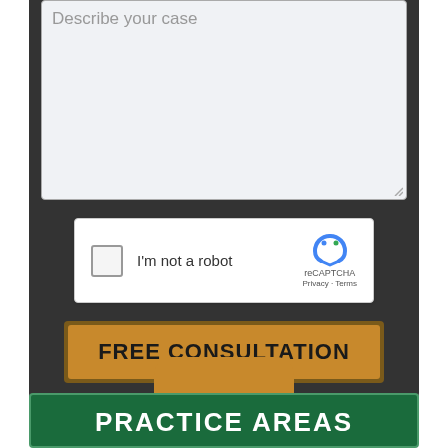[Figure (screenshot): Web form textarea with placeholder text 'Describe your case' on a dark background]
[Figure (screenshot): reCAPTCHA widget with checkbox 'I'm not a robot', reCAPTCHA logo, Privacy and Terms links]
FREE CONSULTATION
PRACTICE AREAS